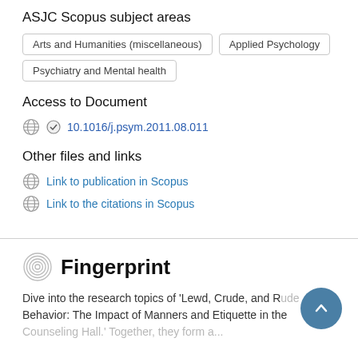ASJC Scopus subject areas
Arts and Humanities (miscellaneous)
Applied Psychology
Psychiatry and Mental health
Access to Document
10.1016/j.psym.2011.08.011
Other files and links
Link to publication in Scopus
Link to the citations in Scopus
Fingerprint
Dive into the research topics of 'Lewd, Crude, and Rude Behavior: The Impact of Manners and Etiquette in the Counseling Hall.' Together, they form a...